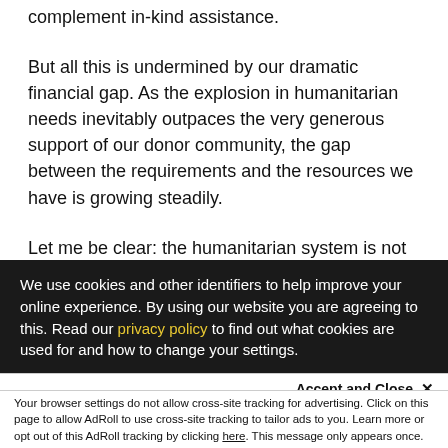complement in-kind assistance.
But all this is undermined by our dramatic financial gap. As the explosion in humanitarian needs inevitably outpaces the very generous support of our donor community, the gap between the requirements and the resources we have is growing steadily.
Let me be clear: the humanitarian system is not broken, as some try to argue - it is far more effective than many others, from development to security areas. But the humanitarian system is financially broke. We are no longer able to meet even the absolute minimum requirements of core
We use cookies and other identifiers to help improve your online experience. By using our website you are agreeing to this. Read our privacy policy to find out what cookies are used for and how to change your settings.
Accept and Close ✕
Your browser settings do not allow cross-site tracking for advertising. Click on this page to allow AdRoll to use cross-site tracking to tailor ads to you. Learn more or opt out of this AdRoll tracking by clicking here. This message only appears once.